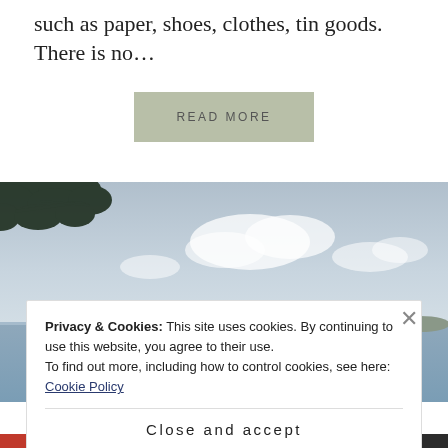such as paper, shoes, clothes, tin goods. There is no…
READ MORE
[Figure (photo): Coastal landscape with calm sea, distant hilly island, small boats on water, overcast sky with clouds, and tree branches visible at the top left corner.]
Privacy & Cookies: This site uses cookies. By continuing to use this website, you agree to their use.
To find out more, including how to control cookies, see here: Cookie Policy
Close and accept